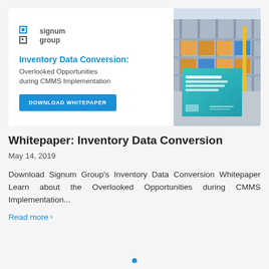[Figure (illustration): Signum Group promotional banner for Inventory Data Conversion whitepaper. Left side shows Signum Group logo, title 'Inventory Data Conversion: Overlooked Opportunities during CMMS Implementation', and a blue 'DOWNLOAD WHITEPAPER' button. Right side shows a warehouse interior photo with a whitepaper book cover overlay.]
Whitepaper: Inventory Data Conversion
May 14, 2019
Download Signum Group's Inventory Data Conversion Whitepaper Learn about the Overlooked Opportunities during CMMS Implementation...
Read more >